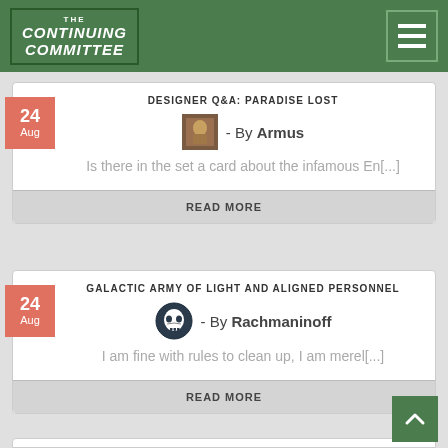THE CONTINUING COMMITTEE
DESIGNER Q&A: PARADISE LOST
- By Armus
Is there in the set a card about the infamous En[...]
READ MORE
GALACTIC ARMY OF LIGHT AND ALIGNED PERSONNEL
- By Rachmaninoff
I am fine with rules to clean up, I am merel[...]
READ MORE